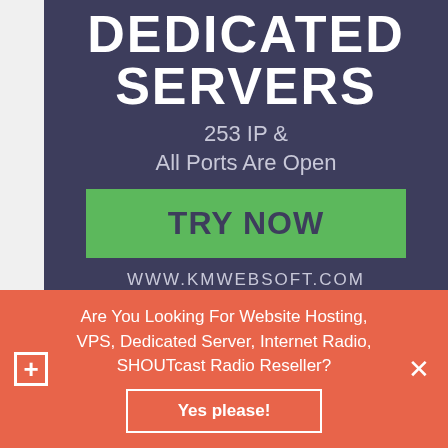[Figure (infographic): Advertisement banner with dark navy/purple background showing 'DEDICATED SERVERS', '253 IP & All Ports Are Open', a green 'TRY NOW' button, and 'WWW.KMWEBSOFT.COM' URL]
Are You Looking For Website Hosting, VPS, Dedicated Server, Internet Radio, SHOUTcast Radio Reseller?
Yes please!